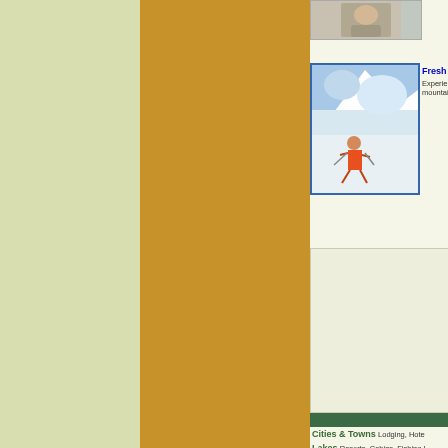[Figure (photo): Left beige sidebar column]
[Figure (photo): Center gold/brown decorative column]
[Figure (photo): Small photo at top right showing people]
[Figure (photo): Ski/mountain photo showing skier on snowy mountain]
Fresh Adv
Experience mountains
[Figure (other): Advertisement box with beige background]
[Figure (other): Dark green horizontal bar]
Cities & Towns Lodging, Hote
Lakes Resorts, Cabins, Fishing I
Travel Info Travel Journals, Tou info
Points of Interest . . more inf
Provincial Parks . . more info
Trails Hiking & canoeing trails . .